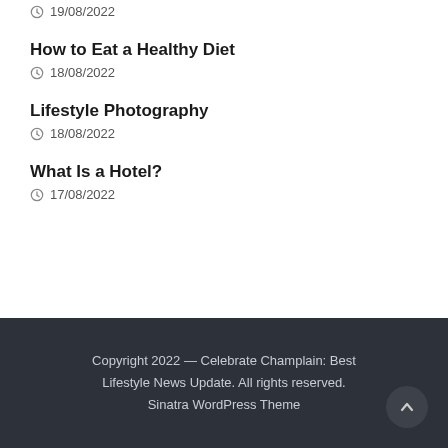19/08/2022
How to Eat a Healthy Diet
18/08/2022
Lifestyle Photography
18/08/2022
What Is a Hotel?
17/08/2022
Copyright 2022 — Celebrate Champlain: Best Lifestyle News Update. All rights reserved. Sinatra WordPress Theme